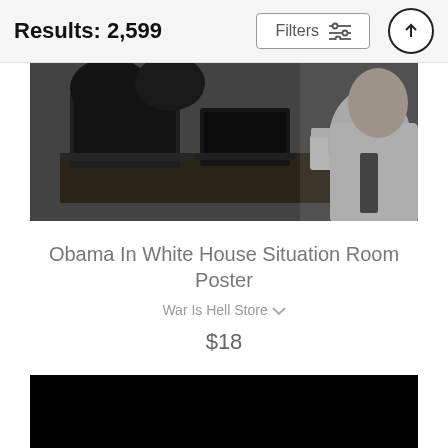Results: 2,599
[Figure (photo): Black and white photograph of people in the White House Situation Room, with laptops open on a conference table; a man in a white shirt and tie is visible on the right side.]
Obama In White House Situation Room Poster
War Is Hell Store
$18
[Figure (photo): Partially visible black image, bottom of next product listing.]